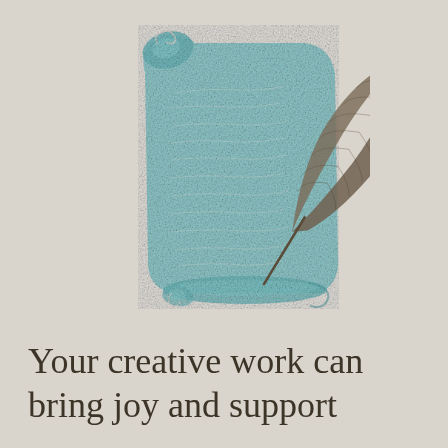[Figure (illustration): A decorative illustration of a blue-teal parchment scroll with handwritten script text, overlaid with a dark olive/brown feather quill pen. The scroll is curled at the top-left and bottom, and the feather extends diagonally from upper-right to lower-left over the scroll.]
Your creative work can bring joy and support